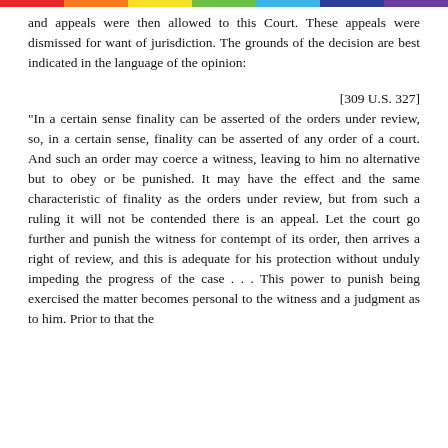and appeals were then allowed to this Court. These appeals were dismissed for want of jurisdiction. The grounds of the decision are best indicated in the language of the opinion:
[309 U.S. 327]
"In a certain sense finality can be asserted of the orders under review, so, in a certain sense, finality can be asserted of any order of a court. And such an order may coerce a witness, leaving to him no alternative but to obey or be punished. It may have the effect and the same characteristic of finality as the orders under review, but from such a ruling it will not be contended there is an appeal. Let the court go further and punish the witness for contempt of its order, then arrives a right of review, and this is adequate for his protection without unduly impeding the progress of the case . . . This power to punish being exercised the matter becomes personal to the witness and a judgment as to him. Prior to that the